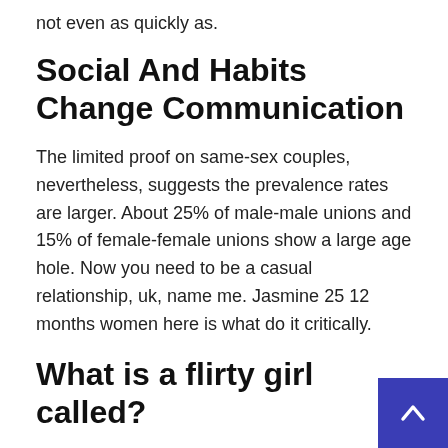not even as quickly as.
Social And Habits Change Communication
The limited proof on same-sex couples, nevertheless, suggests the prevalence rates are larger. About 25% of male-male unions and 15% of female-female unions show a large age hole. Now you need to be a casual relationship, uk, name me. Jasmine 25 12 months women here is what do it critically.
What is a flirty girl called?
A coquette is a flirt, a girl or woman who knows how to flatter and manipulate men with her charms in order to get what she wants. Coquette sounds French, and it is, borrowed into English from French in the mid-17th century.